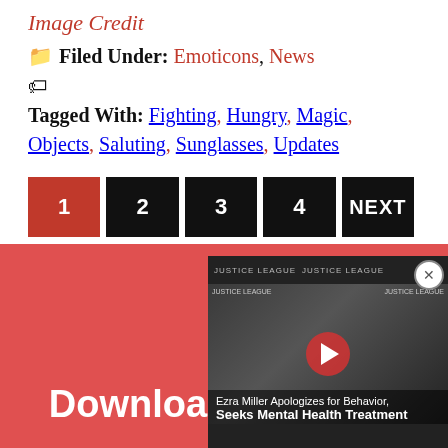Image Credit
Filed Under: Emoticons, News
Tagged With: Fighting, Hungry, Magic, Objects, Saluting, Sunglasses, Updates
1 2 3 4 NEXT (pagination)
[Figure (screenshot): Video thumbnail showing a man at a Justice League event backdrop, with caption 'Ezra Miller Apologizes for Behavior, Seeks Mental Health Treatment']
Download Our Free